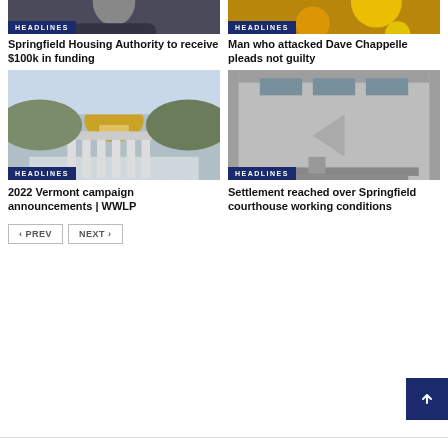[Figure (photo): Person in suit with HEADLINES badge overlay]
[Figure (photo): Golden lights background with HEADLINES badge overlay]
Springfield Housing Authority to receive $100k in funding
Man who attacked Dave Chappelle pleads not guilty
[Figure (photo): Vermont State House with golden dome, HEADLINES badge overlay]
[Figure (photo): Springfield courthouse exterior with stairs, HEADLINES badge overlay]
2022 Vermont campaign announcements | WWLP
Settlement reached over Springfield courthouse working conditions
PREV
NEXT